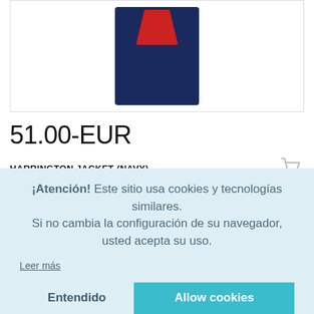[Figure (photo): Navy blue Harrington jacket with red logo patch, shown hanging, partially visible at top of product card]
51.00-EUR
HARRINGTON JACKET (NAVY)
[Figure (logo): Circular brand logo partially visible at top of second product card]
¡Atención! Este sitio usa cookies y tecnologías similares. Si no cambia la configuración de su navegador, usted acepta su uso.
Leer más
Entendido
Allow cookies